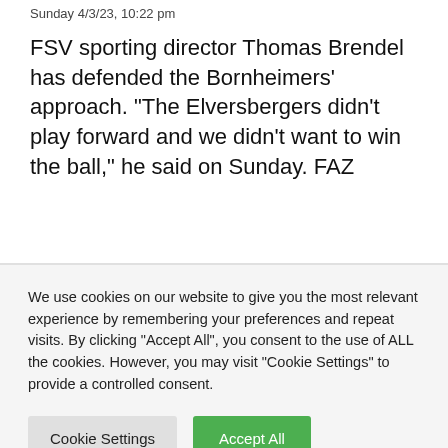Sunday 4/3/23, 10:22 pm
FSV sporting director Thomas Brendel has defended the Bornheimers’ approach. “The Elversbergers didn’t play forward and we didn’t want to win the ball,” he said on Sunday. FAZ
We use cookies on our website to give you the most relevant experience by remembering your preferences and repeat visits. By clicking “Accept All”, you consent to the use of ALL the cookies. However, you may visit "Cookie Settings" to provide a controlled consent.